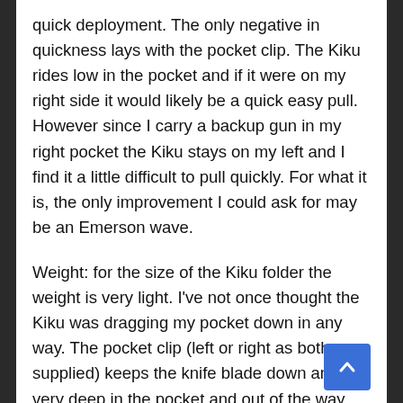quick deployment. The only negative in quickness lays with the pocket clip. The Kiku rides low in the pocket and if it were on my right side it would likely be a quick easy pull. However since I carry a backup gun in my right pocket the Kiku stays on my left and I find it a little difficult to pull quickly. For what it is, the only improvement I could ask for may be an Emerson wave.
Weight: for the size of the Kiku folder the weight is very light. I've not once thought the Kiku was dragging my pocket down in any way. The pocket clip (left or right as both are supplied) keeps the knife blade down and very deep in the pocket and out of the way. While the blade is 4.6 inches the design and shape